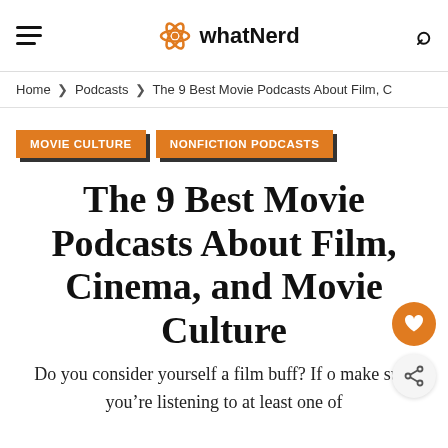whatNerd
Home > Podcasts > The 9 Best Movie Podcasts About Film, C
MOVIE CULTURE   NONFICTION PODCASTS
The 9 Best Movie Podcasts About Film, Cinema, and Movie Culture
Do you consider yourself a film buff? If … make sure you're listening to at least one of